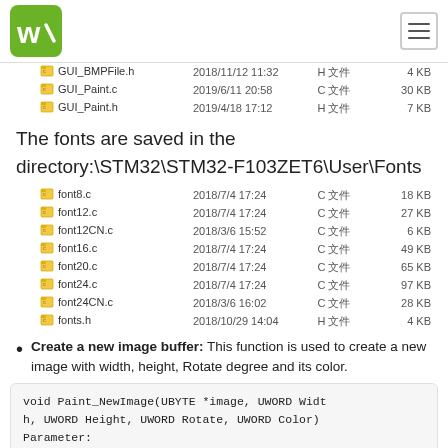Waveshare logo and navigation
| Name | Date | Type | Size |
| --- | --- | --- | --- |
| GUI_BMPFile.h | 2018/11/12 11:32 | H 文件 | 4 KB |
| GUI_Paint.c | 2019/6/11 20:58 | C 文件 | 30 KB |
| GUI_Paint.h | 2019/4/18 17:12 | H 文件 | 7 KB |
The fonts are saved in the directory:\STM32\STM32-F103ZET6\User\Fonts
| Name | Date | Type | Size |
| --- | --- | --- | --- |
| font8.c | 2018/7/4 17:24 | C 文件 | 18 KB |
| font12.c | 2018/7/4 17:24 | C 文件 | 27 KB |
| font12CN.c | 2018/3/6 15:52 | C 文件 | 6 KB |
| font16.c | 2018/7/4 17:24 | C 文件 | 49 KB |
| font20.c | 2018/7/4 17:24 | C 文件 | 65 KB |
| font24.c | 2018/7/4 17:24 | C 文件 | 97 KB |
| font24CN.c | 2018/3/6 16:02 | C 文件 | 28 KB |
| fonts.h | 2018/10/29 14:04 | H 文件 | 4 KB |
Create a new image buffer: This function is used to create a new image with width, height, Rotate degree and its color.
void Paint_NewImage(UBYTE *image, UWORD Width, UWORD Height, UWORD Rotate, UWORD Color)
Parameter:
    image: The buffer of the image, this